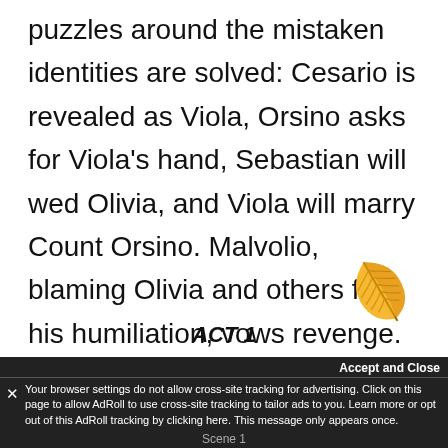puzzles around the mistaken identities are solved: Cesario is revealed as Viola, Orsino asks for Viola's hand, Sebastian will wed Olivia, and Viola will marry Count Orsino. Malvolio, blaming Olivia and others for his humiliation, vows revenge.
[Figure (illustration): Golden/orange feather quill illustration in bottom right area]
ACT 1
Your browser settings do not allow cross-site tracking for advertising. Click on this page to allow AdRoll to use cross-site tracking to tailor ads to you. Learn more or opt out of this AdRoll tracking by clicking here. This message only appears once.